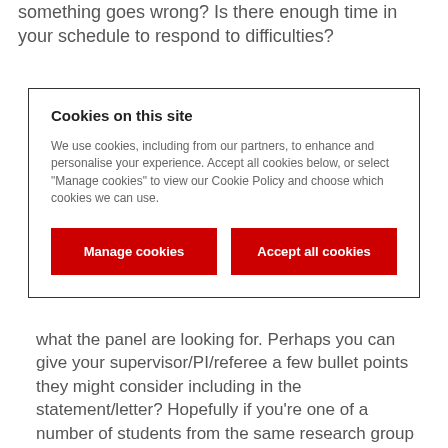something goes wrong? Is there enough time in your schedule to respond to difficulties?
[Figure (screenshot): Cookie consent modal dialog with title 'Cookies on this site', body text about cookie usage, and two red buttons: 'Manage cookies' and 'Accept all cookies']
what the panel are looking for. Perhaps you can give your supervisor/PI/referee a few bullet points they might consider including in the statement/letter? Hopefully if you're one of a number of students from the same research group applying, your supervisor won't have written the same statement for everyone!
12. Make your application easy to read. Again, keep your reviewers onside. Online forms